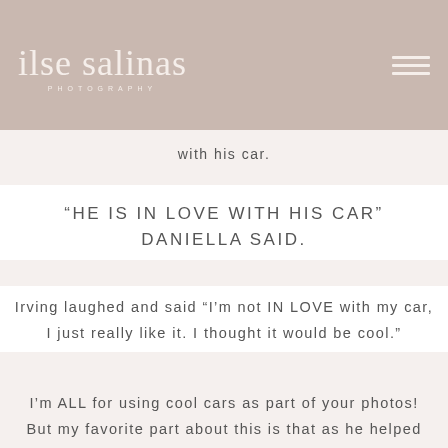[Figure (logo): Ilse Salinas Photography logo in script font on a taupe/mauve background, with hamburger menu icon on the right]
with his car.
“HE IS IN LOVE WITH HIS CAR” DANIELLA SAID.
Irving laughed and said “I’m not IN LOVE with my car, I just really like it. I thought it would be cool.”
I’m ALL for using cool cars as part of your photos! But my favorite part about this is that as he helped her up to get on